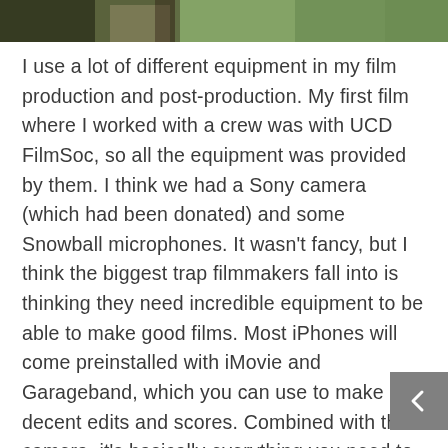[Figure (photo): Top cropped photo strip showing people outdoors with greenery in background]
I use a lot of different equipment in my film production and post-production. My first film where I worked with a crew was with UCD FilmSoc, so all the equipment was provided by them. I think we had a Sony camera (which had been donated) and some Snowball microphones. It wasn't fancy, but I think the biggest trap filmmakers fall into is thinking they need incredible equipment to be able to make good films. Most iPhones will come preinstalled with iMovie and Garageband, which you can use to make decent edits and scores. Combined with the camera, it's basically everything you need to practice. I put together a Rocky-style montage to me programming as an extra thing to submit for a school project – I did this in 30 minutes on my phone. It's simple (stupid in my case) ideas, but every time you do something small and follow through all the way to the end you're improving